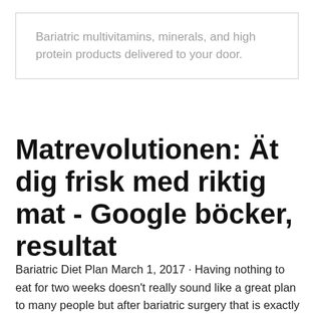Bariatric multivitamins, minerals, and high protein products delivered to your door.
Matrevolutionen: Ät dig frisk med riktig mat - Google böcker, resultat
Bariatric Diet Plan March 1, 2017 · Having nothing to eat for two weeks doesn't really sound like a great plan to many people but after bariatric surgery that is exactly what you have to do with a bariatirc liquid diet to give your stomach time to heal before